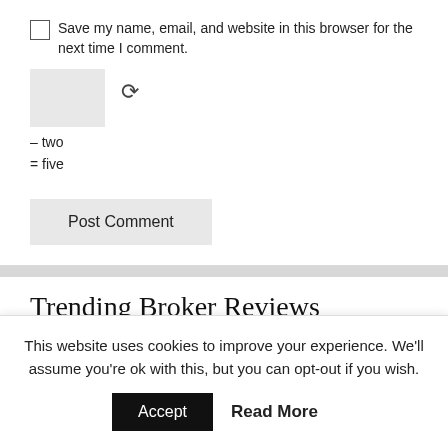Save my name, email, and website in this browser for the next time I comment.
[Figure (other): CAPTCHA image box (grey rectangle) with refresh/reload icon, and math equation text: – two = five]
– two = five
Post Comment
Trending Broker Reviews
This website uses cookies to improve your experience. We'll assume you're ok with this, but you can opt-out if you wish.
Accept  Read More